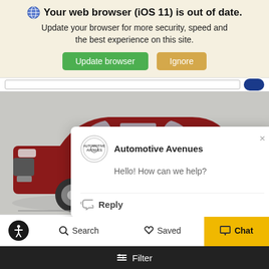Your web browser (iOS 11) is out of date. Update your browser for more security, speed and the best experience on this site. Update browser | Ignore
[Figure (screenshot): Red Chevrolet Cruze sedan on a dealership display platform, photographed from the front-left angle against a white/grey background.]
Automotive Avenues
Hello! How can we help?
Reply
2014 Ch... CRUZE 1.4... Se... 4-dr...
Search | Saved | Chat
Filter